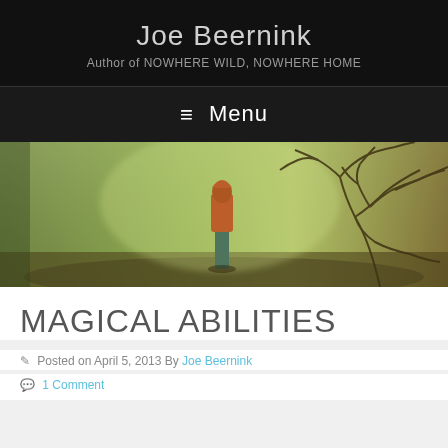Joe Beernink
Author of NOWHERE WILD, NOWHERE HOME
≡ Menu
[Figure (photo): A person in an orange hoodie standing in a misty green field with bare tree branches on the right side]
MAGICAL ABILITIES
Posted on April 5, 2013 By Joe Beernink
1 Comment